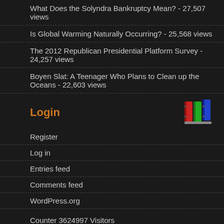What Does the Solyndra Bankruptcy Mean? - 27,507 views
Is Global Warming Naturally Occurring? - 25,568 views
The 2012 Republican Presidential Platform Survey - 24,257 views
Boyen Slat: A Teenager Who Plans to Clean up the Oceans - 22,603 views
Login
Register
Log in
Entries feed
Comments feed
WordPress.org
Counter 3624997 Visitors
Pages
Aristotle on Teaching Science